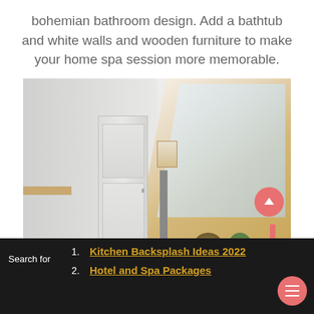bohemian bathroom design. Add a bathtub and white walls and wooden furniture to make your home spa session more memorable.
[Figure (photo): Interior photo of a bohemian bathroom with white walls, slanted skylight with wooden frame, a white paneled door, wall-mounted light fixture, wicker basket, hanging plants, and sink area. An upward-arrow button in coral/red is visible in the lower right corner.]
1. Kitchen Backsplash Ideas 2022
2. Hotel and Spa Packages